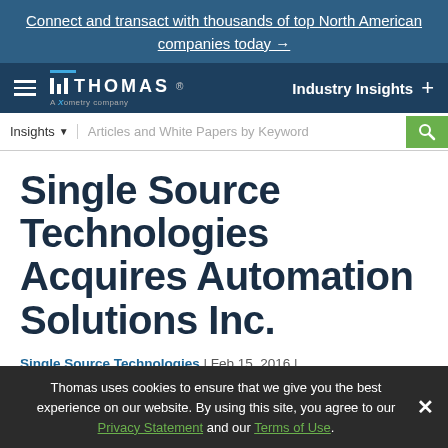Connect and transact with thousands of top North American companies today →
[Figure (logo): Thomas – A Xometry Company logo with hamburger menu and Industry Insights navigation]
Insights ▾   Articles and White Papers by Keyword
Single Source Technologies Acquires Automation Solutions Inc.
Single Source Technologies | Feb 15, 2016 |
Thomas uses cookies to ensure that we give you the best experience on our website. By using this site, you agree to our Privacy Statement and our Terms of Use.